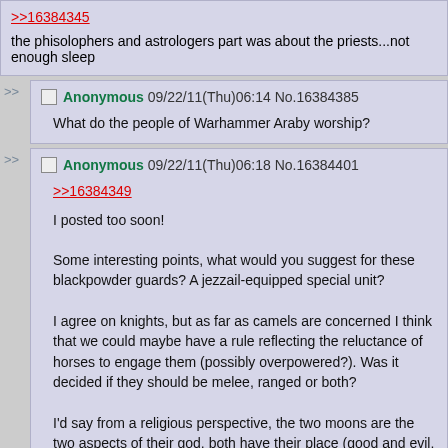>>16384345
the phisolophers and astrologers part was about the priests...not enough sleep
Anonymous 09/22/11(Thu)06:14 No.16384385
What do the people of Warhammer Araby worship?
Anonymous 09/22/11(Thu)06:18 No.16384401
>>16384349
I posted too soon!
Some interesting points, what would you suggest for these blackpowder guards? A jezzail-equipped special unit?
I agree on knights, but as far as camels are concerned I think that we could maybe have a rule reflecting the reluctance of horses to engage them (possibly overpowered?). Was it decided if they should be melee, ranged or both?
I'd say from a religious perspective, the two moons are the two aspects of their god, both have their place (good and evil, a ying/yang deal). Maybe call the god 'Moon' in Arabic? (From what I can tell, moon in Arabic is Qamar/Komar?)